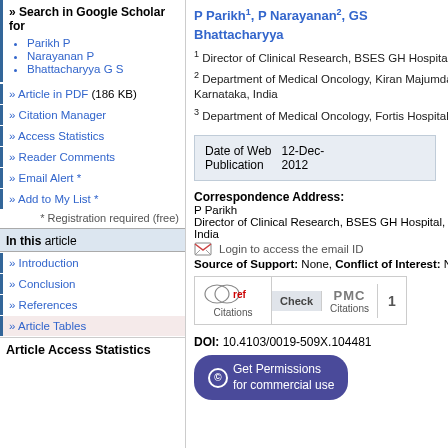» Search in Google Scholar for
Parikh P
Narayanan P
Bhattacharyya G S
» Article in PDF (186 KB)
» Citation Manager
» Access Statistics
» Reader Comments
» Email Alert *
» Add to My List *
* Registration required (free)
In this article
» Introduction
» Conclusion
» References
» Article Tables
Article Access Statistics
P Parikh1, P Narayanan2, GS Bhattacharyya
1 Director of Clinical Research, BSES GH Hospital
2 Department of Medical Oncology, Kiran Majumda Karnataka, India
3 Department of Medical Oncology, Fortis Hospital
| Date of Web Publication |  |
| --- | --- |
| Date of Web Publication | 12-Dec-2012 |
Correspondence Address: P Parikh Director of Clinical Research, BSES GH Hospital, India
Login to access the email ID
Source of Support: None, Conflict of Interest: N
[Figure (logo): CrossRef Citations Check badge and PMC Citations badge with count 1]
DOI: 10.4103/0019-509X.104481
Get Permissions for commercial use